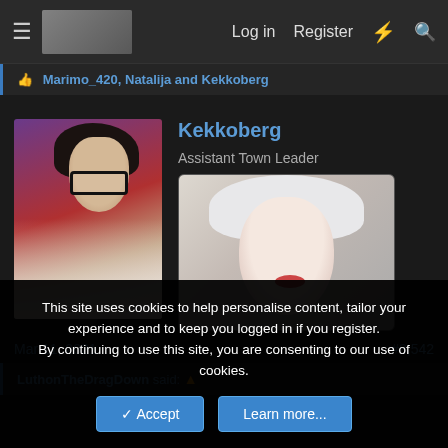Log in  Register
Marimo_420, Natalija and Kekkoberg
Kekkoberg
Assistant Town Leader
[Figure (illustration): Anime-style character avatar with dark hair and glasses in a lab coat]
[Figure (illustration): Anime-style signature image showing a girl with white hair and red lips]
Mar 11, 2021
#3,542
LuthonTheDragDown said:
This site uses cookies to help personalise content, tailor your experience and to keep you logged in if you register.
By continuing to use this site, you are consenting to our use of cookies.
Accept  Learn more...